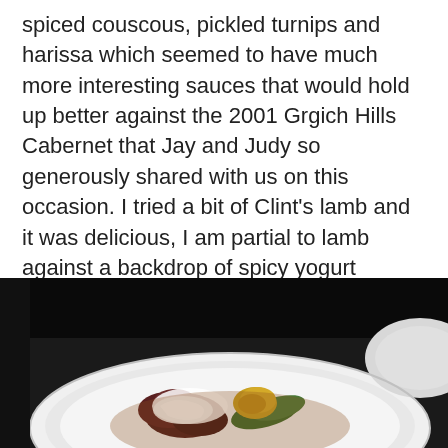spiced couscous, pickled turnips and harissa which seemed to have much more interesting sauces that would hold up better against the 2001 Grgich Hills Cabernet that Jay and Judy so generously shared with us on this occasion. I tried a bit of Clint's lamb and it was delicious, I am partial to lamb against a backdrop of spicy yogurt sauce. Jay loved his Moroccan-style chicken.
[Figure (photo): A restaurant food photo showing a white plate with lamb dish, topped with white yogurt sauce and yellow/green garnish, on a dark background.]